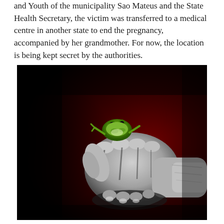and Youth of the municipality Sao Mateus and the State Health Secretary, the victim was transferred to a medical centre in another state to end the pregnancy, accompanied by her grandmother. For now, the location is being kept secret by the authorities.
[Figure (photo): A black and white and red dramatic photo showing a hand clutching a small toy frog, with a dark red background. The image is high contrast with the hand in grayscale tones.]